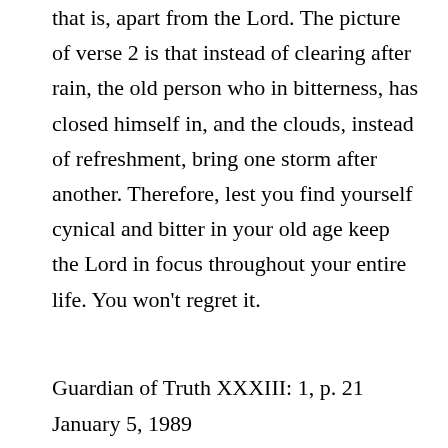that is, apart from the Lord. The picture of verse 2 is that instead of clearing after rain, the old person who in bitterness, has closed himself in, and the clouds, instead of refreshment, bring one storm after another. Therefore, lest you find yourself cynical and bitter in your old age keep the Lord in focus throughout your entire life. You won't regret it.
Guardian of Truth XXXIII: 1, p. 21
January 5, 1989